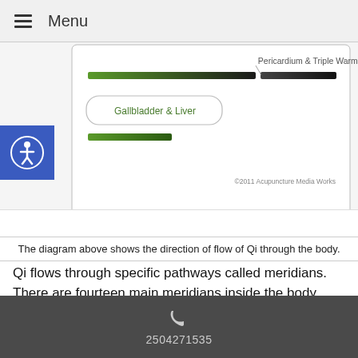Menu
[Figure (infographic): Partial diagram showing meridian flow chart with labels 'Pericardium & Triple Warmer' and 'Gallbladder & Liver' with colored bar indicators and copyright '©2011 Acupuncture Media Works']
The diagram above shows the direction of flow of Qi through the body.
Qi flows through specific pathways called meridians. There are fourteen main meridians inside the body. The diagram to the left shows the meridian pathways in the body. Each of these is connected to specific organs and glands.
Meridian pathways are like rivers flowing inside the body. Where a river flows, it transports life-giving water
2504271535